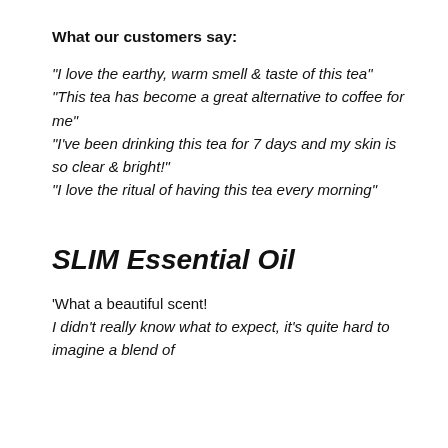What our customers say:
"I love the earthy, warm smell & taste of this tea"
"This tea has become a great alternative to coffee for me"
"I've been drinking this tea for 7 days and my skin is so clear & bright!"
"I love the ritual of having this tea every morning"
SLIM Essential Oil
'What a beautiful scent! I didn't really know what to expect, it's quite hard to imagine a blend of